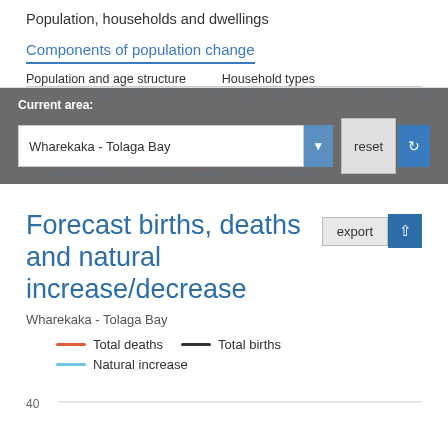Population, households and dwellings
Components of population change
Population and age structure   Household types
Current area:
Wharekaka - Tolaga Bay
Forecast births, deaths and natural increase/decrease
Wharekaka - Tolaga Bay
Total deaths   Total births   Natural increase
[Figure (line-chart): Partial line chart showing y-axis label of 40, with gridline visible. Chart shows forecast births, deaths and natural increase for Wharekaka - Tolaga Bay.]